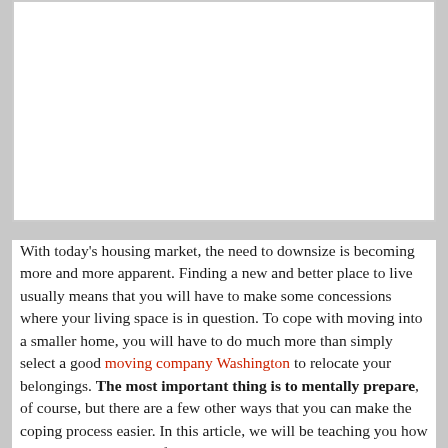[Figure (other): White rectangular image placeholder area with light gray border at top of page]
With today's housing market, the need to downsize is becoming more and more apparent. Finding a new and better place to live usually means that you will have to make some concessions where your living space is in question. To cope with moving into a smaller home, you will have to do much more than simply select a good moving company Washington to relocate your belongings. The most important thing is to mentally prepare, of course, but there are a few other ways that you can make the coping process easier. In this article, we will be teaching you how to make the most out of your relocation into a smaller home.